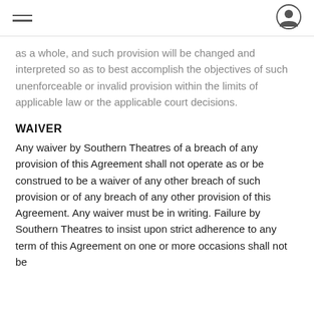as a whole, and such provision will be changed and interpreted so as to best accomplish the objectives of such unenforceable or invalid provision within the limits of applicable law or the applicable court decisions.
WAIVER
Any waiver by Southern Theatres of a breach of any provision of this Agreement shall not operate as or be construed to be a waiver of any other breach of such provision or of any breach of any other provision of this Agreement. Any waiver must be in writing. Failure by Southern Theatres to insist upon strict adherence to any term of this Agreement on one or more occasions shall not be